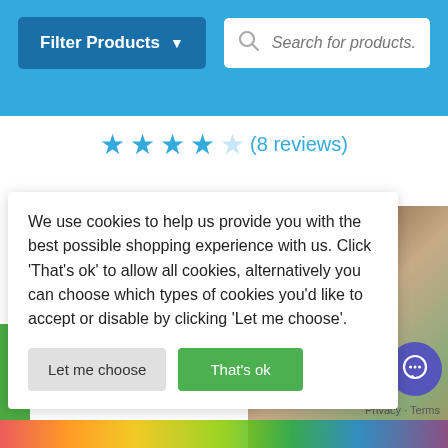[Figure (screenshot): E-commerce website header with 'Filter Products' dropdown button and search bar with placeholder 'Search for products...' on a blue background]
★★★★☆ (8 reviews)
[Figure (screenshot): Cookie consent dialog overlay with text: 'We use cookies to help us provide you with the best possible shopping experience with us. Click 'That's ok' to allow all cookies, alternatively you can choose which types of cookies you'd like to accept or disable by clicking 'Let me choose'.' Two buttons: 'Let me choose' and 'That's ok']
Privacy · Terms